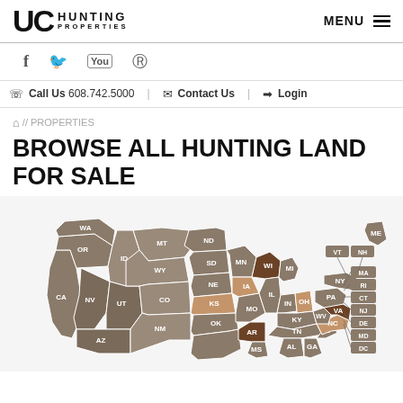UC HUNTING PROPERTIES | MENU
f  (twitter)  (youtube)  (pinterest)
Call Us 608.742.5000   Contact Us   Login
// PROPERTIES
BROWSE ALL HUNTING LAND FOR SALE
[Figure (map): Interactive US map showing states with hunting land for sale. States are colored in shades of brown/tan indicating available properties. States visible include WA, OR, CA, ID, NV, MT, WY, UT, AZ, ND, SD, NE, KS, CO, NM, OK, MN, IA, MO, AR, MS, WI, MI, IL, IN, OH, KY, TN, AL, GA, SC, NC, VA, WV, PA, NY, ME, NH, VT, MA, RI, CT, NJ, DE, MD, DC.]